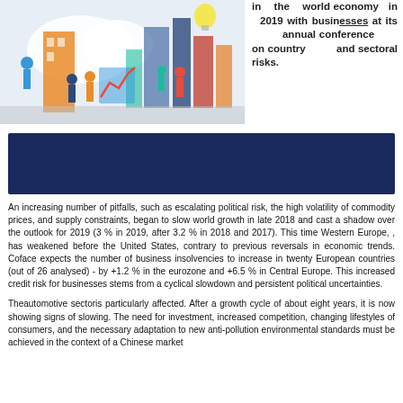[Figure (illustration): Colorful illustration of business people and city/economy scene with charts and buildings]
in the world economy in 2019 with businesses at its annual conference on country and sectoral risks.
[Figure (other): Dark navy blue banner/header block]
An increasing number of pitfalls, such as escalating political risk, the high volatility of commodity prices, and supply constraints, began to slow world growth in late 2018 and cast a shadow over the outlook for 2019 (3 % in 2019, after 3.2 % in 2018 and 2017). This time Western Europe, , has weakened before the United States, contrary to previous reversals in economic trends. Coface expects the number of business insolvencies to increase in twenty European countries (out of 26 analysed) - by +1.2 % in the eurozone and +6.5 % in Central Europe. This increased credit risk for businesses stems from a cyclical slowdown and persistent political uncertainties.
Theautomotive sectoris particularly affected. After a growth cycle of about eight years, it is now showing signs of slowing. The need for investment, increased competition, changing lifestyles of consumers, and the necessary adaptation to new anti-pollution environmental standards must be achieved in the context of a Chinese market